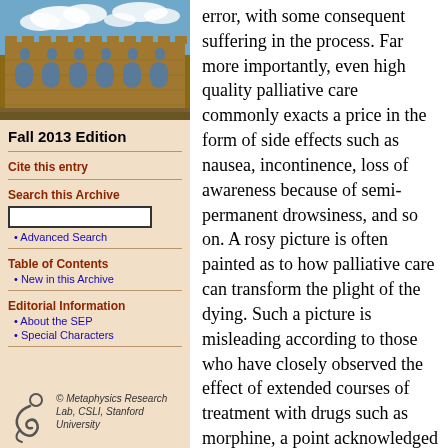[Figure (photo): Aerial/ground-level photo of a historic stone university building with blue sky and clouds]
Fall 2013 Edition
Cite this entry
Search this Archive
Advanced Search
Table of Contents
New in this Archive
Editorial Information
About the SEP
Special Characters
[Figure (logo): Metaphysics Research Lab logo - stylized figure]
© Metaphysics Research Lab, CSLI, Stanford University
error, with some consequent suffering in the process. Far more importantly, even high quality palliative care commonly exacts a price in the form of side effects such as nausea, incontinence, loss of awareness because of semi-permanent drowsiness, and so on. A rosy picture is often painted as to how palliative care can transform the plight of the dying. Such a picture is misleading according to those who have closely observed the effect of extended courses of treatment with drugs such as morphine, a point acknowledged by many skilled palliative care specialists.